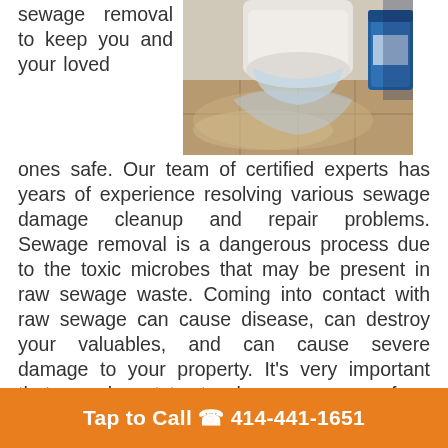sewage removal to keep you and your loved ones safe. Our team of certified experts has years of experience resolving various sewage damage cleanup and repair problems. Sewage removal is a dangerous process due to the toxic microbes that may be present in raw sewage waste. Coming into contact with raw sewage can cause disease, can destroy your valuables, and can cause severe damage to your property. It's very important that you do not try to clean up a mess from broken pipes that are connected to a sewage line. You always need to have an experienced sewage damage specialist with specific equipment to keep you and your family safe during the sewage cleanup process.
[Figure (photo): Photo of a flooded bathroom with sewage water on the floor near a toilet, with tile flooring visible and a blue container in the background.]
Sewage damage can be the unhealthiest damage
Tap to Call 📞 414-441-1651